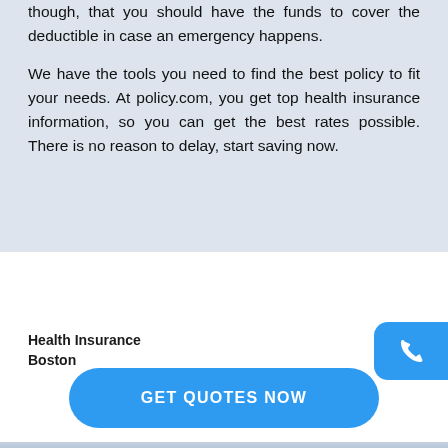though, that you should have the funds to cover the deductible in case an emergency happens.
We have the tools you need to find the best policy to fit your needs. At policy.com, you get top health insurance information, so you can get the best rates possible. There is no reason to delay, start saving now.
Health Insurance Boston
[Figure (other): Blue phone call button (partially visible on right edge)]
GET QUOTES NOW